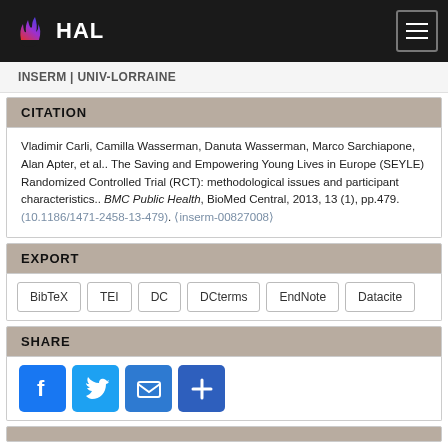HAL | INSERM | UNIV-LORRAINE
CITATION
Vladimir Carli, Camilla Wasserman, Danuta Wasserman, Marco Sarchiapone, Alan Apter, et al.. The Saving and Empowering Young Lives in Europe (SEYLE) Randomized Controlled Trial (RCT): methodological issues and participant characteristics.. BMC Public Health, BioMed Central, 2013, 13 (1), pp.479. (10.1186/1471-2458-13-479). (inserm-00827008)
EXPORT
BibTeX
TEI
DC
DCterms
EndNote
Datacite
SHARE